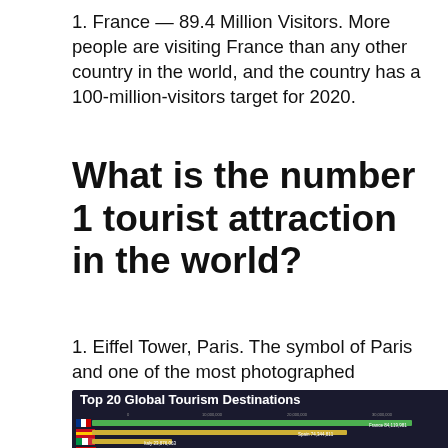1. France — 89.4 Million Visitors. More people are visiting France than any other country in the world, and the country has a 100-million-visitors target for 2020.
What is the number 1 tourist attraction in the world?
1. Eiffel Tower, Paris. The symbol of Paris and one of the most photographed structures in the world, a visit to the Eiffel Tower is a must for all travelers.
[Figure (bar-chart): Top 20 Global Tourism Destinations]